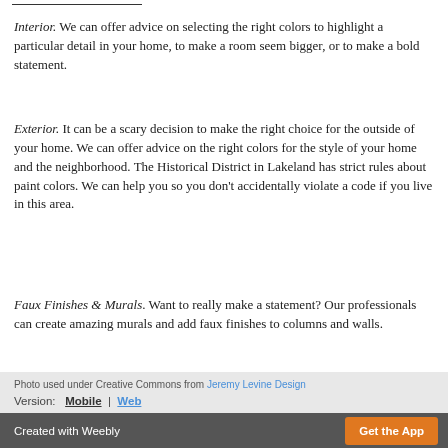Interior. We can offer advice on selecting the right colors to highlight a particular detail in your home, to make a room seem bigger, or to make a bold statement.
Exterior. It can be a scary decision to make the right choice for the outside of your home. We can offer advice on the right colors for the style of your home and the neighborhood. The Historical District in Lakeland has strict rules about paint colors. We can help you so you don't accidentally violate a code if you live in this area.
Faux Finishes & Murals. Want to really make a statement? Our professionals can create amazing murals and add faux finishes to columns and walls.
Photo used under Creative Commons from Jeremy Levine Design
Version: Mobile | Web
Created with Weebly  Get the App